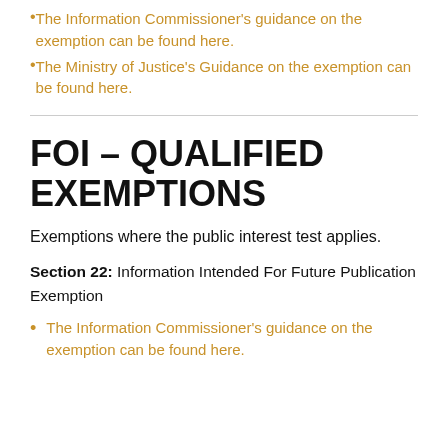The Information Commissioner's guidance on the exemption can be found here.
The Ministry of Justice's Guidance on the exemption can be found here.
FOI – QUALIFIED EXEMPTIONS
Exemptions where the public interest test applies.
Section 22: Information Intended For Future Publication Exemption
The Information Commissioner's guidance on the exemption can be found here.